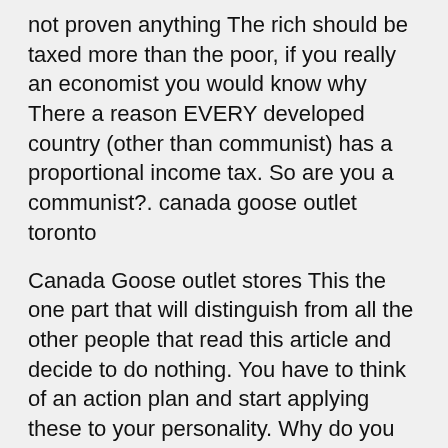not proven anything The rich should be taxed more than the poor, if you really an economist you would know why There a reason EVERY developed country (other than communist) has a proportional income tax. So are you a communist?. canada goose outlet toronto
Canada Goose outlet stores This the one part that will distinguish from all the other people that read this article and decide to do nothing. You have to think of an action plan and start applying these to your personality. Why do you want to do this? Because you made a commitment to yourself to start being good with women and be the man who women are attracted to. Canada Goose outlet stores
canada goose sale Still many questions remain with regards to tobacco ringspot virus. It is